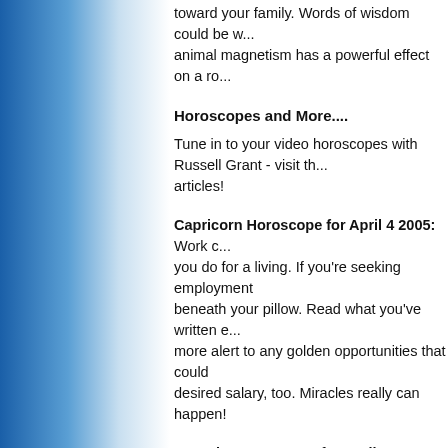toward your family. Words of wisdom could be w... animal magnetism has a powerful effect on a ro...
Horoscopes and More....
Tune in to your video horoscopes with Russell Grant - visit th... articles!
Capricorn Horoscope for April 4 2005: Work c... you do for a living. If you're seeking employment beneath your pillow. Read what you've written e... more alert to any golden opportunities that could desired salary, too. Miracles really can happen!
Aquarius Horoscope for April 4 2005: An inte... an unusual path. You're ready to branch out into have the opportunity to study such a subject in-c... you lack the funds to go back to school. A powe... difference. Capitalise on your contacts.
Pisces Horoscope for April 4 2005: An exciting job may involve working behind-the-scenes in th... as a healer or assistant and although this isn't a... salary. If you're not happy with the initial offer yo... employer will be happy to have you at a higher...